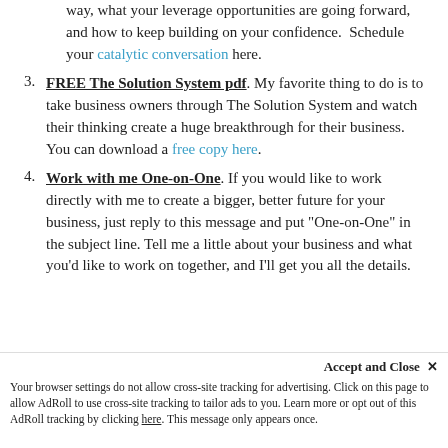(continuation) will talk about your business future, what's in the way, what your leverage opportunities are going forward, and how to keep building on your confidence. Schedule your catalytic conversation here.
3. FREE The Solution System pdf. My favorite thing to do is to take business owners through The Solution System and watch their thinking create a huge breakthrough for their business. You can download a free copy here.
4. Work with me One-on-One. If you would like to work directly with me to create a bigger, better future for your business, just reply to this message and put "One-on-One" in the subject line. Tell me a little about your business and what you'd like to work on together, and I'll get you all the details.
Accept and Close ✕ Your browser settings do not allow cross-site tracking for advertising. Click on this page to allow AdRoll to use cross-site tracking to tailor ads to you. Learn more or opt out of this AdRoll tracking by clicking here. This message only appears once.